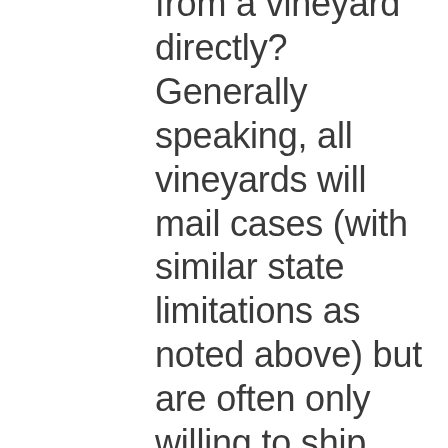from a vineyard directly? Generally speaking, all vineyards will mail cases (with similar state limitations as noted above) but are often only willing to ship their wines in the box. As such, shipping from a vineyard is best for those with full case orders or those who are participating in clubs